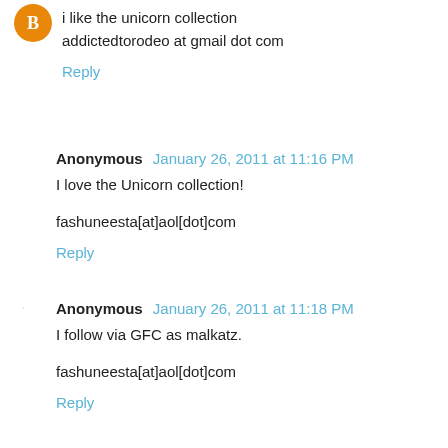i like the unicorn collection
addictedtorodeo at gmail dot com
Reply
Anonymous January 26, 2011 at 11:16 PM
I love the Unicorn collection!

fashuneesta[at]aol[dot]com
Reply
Anonymous January 26, 2011 at 11:18 PM
I follow via GFC as malkatz.

fashuneesta[at]aol[dot]com
Reply